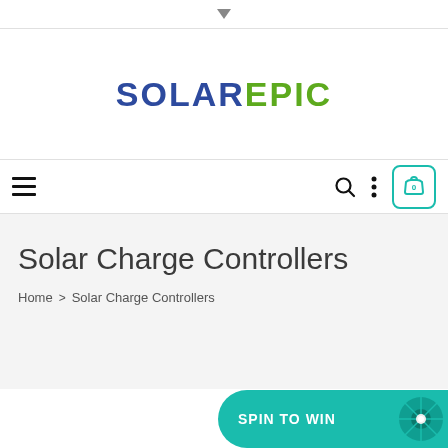▼
[Figure (logo): SolarEpic logo with SOLAR in dark blue and EPIC in green, bold uppercase letters]
☰  🔍  ⋮  0
Solar Charge Controllers
Home > Solar Charge Controllers
[Figure (infographic): Spin to Win promotional button with teal background and spinning wheel icon]